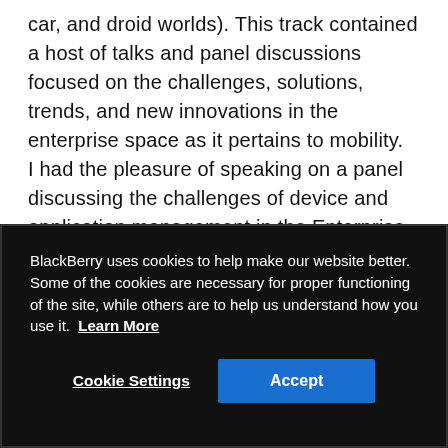car, and droid worlds). This track contained a host of talks and panel discussions focused on the challenges, solutions, trends, and new innovations in the enterprise space as it pertains to mobility.  I had the pleasure of speaking on a panel discussing the challenges of device and application management in the Enterprise, and it was an interesting and lively session.  Other areas touched on were Secure Containers (by my colleague Shikhir Singh), Cloud, Mobility in the Government, Mobility and Security, UI
BlackBerry uses cookies to help make our website better. Some of the cookies are necessary for proper functioning of the site, while others are to help us understand how you use it. Learn More